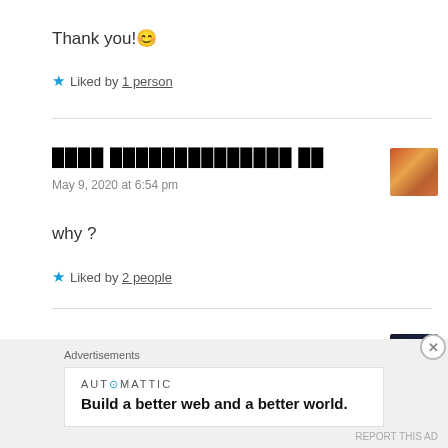Thank you! 😊
★ Liked by 1 person
░░░░ ░░░░░░░░░░░░░░ ░░
May 9, 2020 at 6:54 pm
why ?
★ Liked by 2 people
TishGirl❤
Advertisements
AUT⊙MATTIC
Build a better web and a better world.